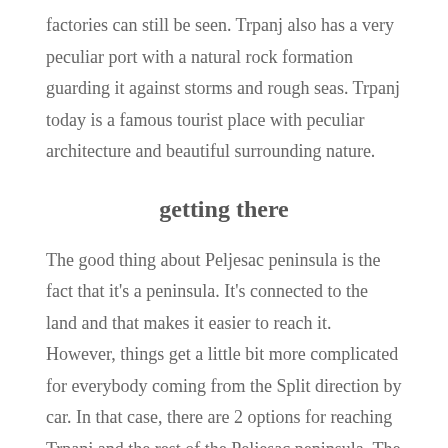factories can still be seen. Trpanj also has a very peculiar port with a natural rock formation guarding it against storms and rough seas. Trpanj today is a famous tourist place with peculiar architecture and beautiful surrounding nature.
getting there
The good thing about Peljesac peninsula is the fact that it's a peninsula. It's connected to the land and that makes it easier to reach it. However, things get a little bit more complicated for everybody coming from the Split direction by car. In that case, there are 2 options for reaching Trpanj and the rest of the Peljesac peninsula. The first one is taking the Ploce to Trpanj ferry. The ferry ride lasts for around 1 hour and you